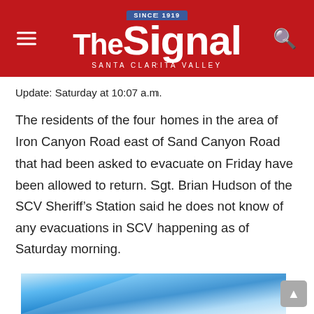The Signal – Santa Clarita Valley
Update: Saturday at 10:07 a.m.
The residents of the four homes in the area of Iron Canyon Road east of Sand Canyon Road that had been asked to evacuate on Friday have been allowed to return. Sgt. Brian Hudson of the SCV Sheriff's Station said he does not know of any evacuations in SCV happening as of Saturday morning.
“We have no evacuations going on,” said Hudson.
[Figure (illustration): Partial view of a blue gradient banner advertisement at the bottom of the page]